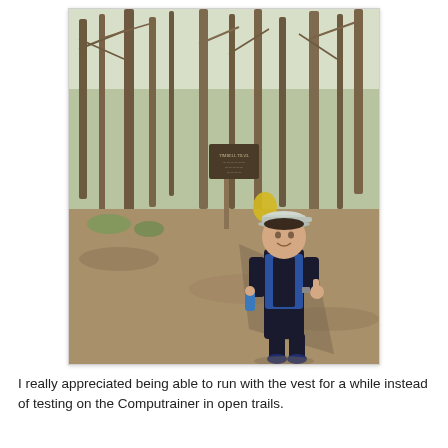[Figure (photo): A person wearing a blue running vest and a white cap stands on a trail in a wooded area, giving a thumbs up and holding a water bottle. Behind them is a trail sign post and bare trees with some green moss visible. The ground is covered with brown leaves and dirt.]
I really appreciated being able to run with the vest for a while instead of testing on the Computrainer in open trails.